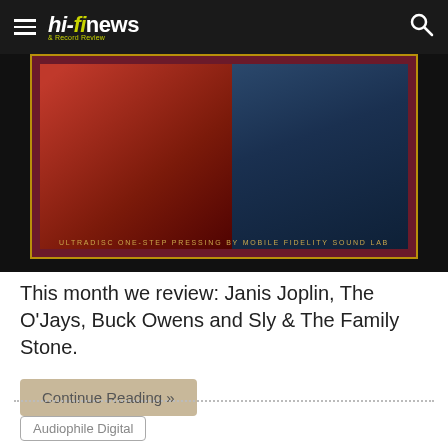hi-fi news & Record Review
[Figure (photo): Album cover art showing a figure in red clothing against a blue background, with gold border and maroon frame. Text reads: ULTRADISC ONE-STEP PRESSING BY MOBILE FIDELITY SOUND LAB]
This month we review: Janis Joplin, The O'Jays, Buck Owens and Sly & The Family Stone.
Continue Reading »
Audiophile Digital